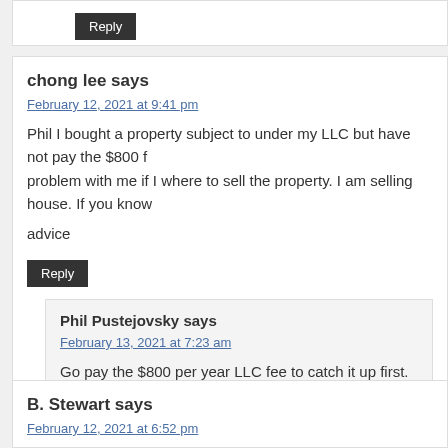Reply
chong lee says
February 12, 2021 at 9:41 pm
Phil I bought a property subject to under my LLC but have not pay the $800 f… problem with me if I where to sell the property. I am selling house. If you know… advice
Reply
Phil Pustejovsky says
February 13, 2021 at 7:23 am
Go pay the $800 per year LLC fee to catch it up first. You won't be able to… standing
Reply
B. Stewart says
February 12, 2021 at 6:52 pm